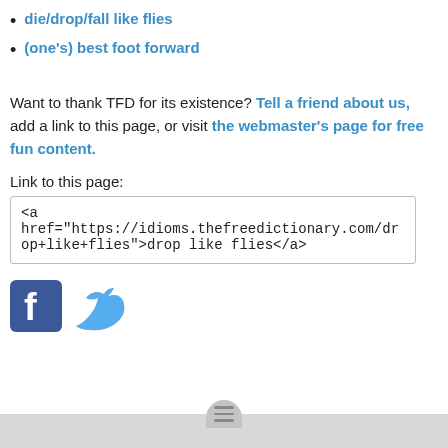die/drop/fall like flies
(one's) best foot forward
Want to thank TFD for its existence? Tell a friend about us, add a link to this page, or visit the webmaster's page for free fun content.
Link to this page:
<a href="https://idioms.thefreedictionary.com/drop+like+flies">drop like flies</a>
[Figure (logo): Facebook and Twitter social media icons]